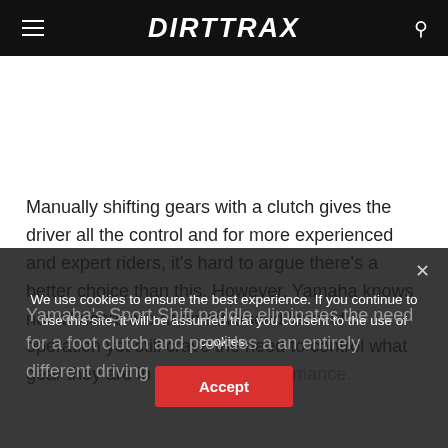DIRTTRAX
Manually shifting gears with a clutch gives the driver all the control and for more experienced and expert riders, it's hard to argue there's a better choice than this. However, Yamaha knows not all riders are at an advanced level of operation yet still crave the need to control what gear they are in for optimal performance.
We use cookies to ensure the best experience. If you continue to use this site, it will be assumed that you consent to the use of cookies.
Yamaha's Sport Shift paddle eliminates the need for a foot clutch and provides a an entirely different driving